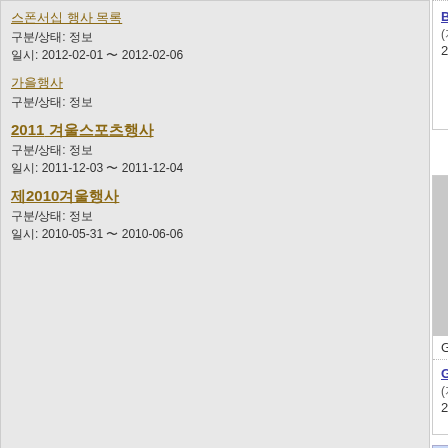스폰서십 행사 목록
구분/상태: 정보
일시: 2012-02-01 ~ 2012-02-06
가을행사
구분/상태: 정보
2011 겨울스포츠행사
구분/상태: 정보
일시: 2011-12-03 ~ 2011-12-04
제2010겨울행사
구분/상태: 정보
일시: 2010-05-31 ~ 2010-06-06
Blackbird cafe (지도)
2011-08-28
Guylian Dark Chocola..
Guylian Belgium Chocolate Cafe (지도)
2011-08-27